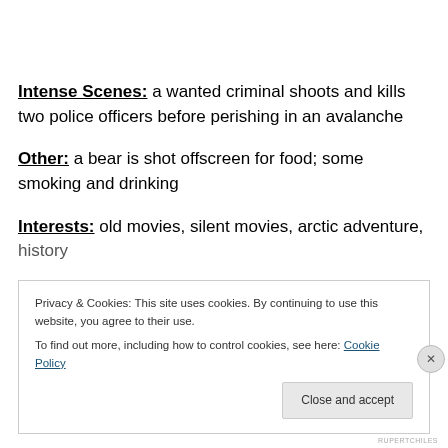Intense Scenes: a wanted criminal shoots and kills two police officers before perishing in an avalanche
Other: a bear is shot offscreen for food; some smoking and drinking
Interests: old movies, silent movies, arctic adventure, history
Privacy & Cookies: This site uses cookies. By continuing to use this website, you agree to their use.
To find out more, including how to control cookies, see here: Cookie Policy
Close and accept